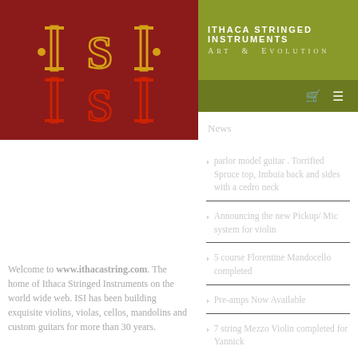[Figure (logo): ISI logo: stylized letters ISI in gold/yellow on dark red background, with dots on sides]
ITHACA STRINGED INSTRUMENTS
Welcome to www.ithacastring.com. The home of Ithaca Stringed Instruments on the world wide web. ISI has been building exquisite violins, violas, cellos, mandolins and custom guitars for more than 30 years.
ITHACA STRINGED INSTRUMENTS Art & Evolution
News
parlor model guitar . Torrified Spruce top, Imbuia back and sides with a cedro neck
Announcing the new Pickup/ Mic system for violin
5 course Florentine Mandocello completed
Pre-amps Now Available
7 string Mezzo Violin completed for Yannick